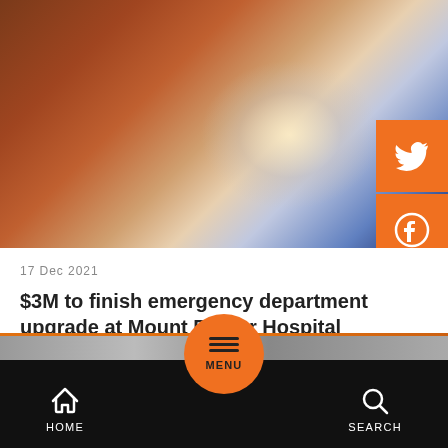[Figure (photo): Blurred indoor photo with warm orange/brown tones on the left and cool blue tones on the lower right, with a bright white/cream light source in the center-right area. Social media share buttons (Twitter and Facebook) in orange overlay on the right edge.]
17 Dec 2021
$3M to finish emergency department upgrade at Mount Barker Hospital
[Figure (screenshot): Bottom navigation bar with HOME icon (house), orange circular MENU button in the center, and SEARCH icon (magnifying glass). Next article preview strip in gray above the nav bar.]